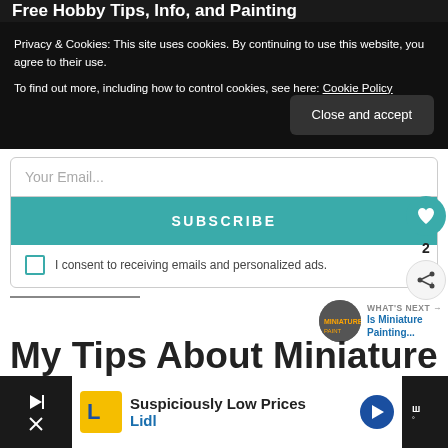Free Hobby Tips, Info, and Painting
Privacy & Cookies: This site uses cookies. By continuing to use this website, you agree to their use.
To find out more, including how to control cookies, see here: Cookie Policy
Close and accept
Your Email...
SUBSCRIBE
I consent to receiving emails and personalized ads.
2
WHAT'S NEXT → Is Miniature Painting...
My Tips About Miniature
Suspiciously Low Prices
Lidl